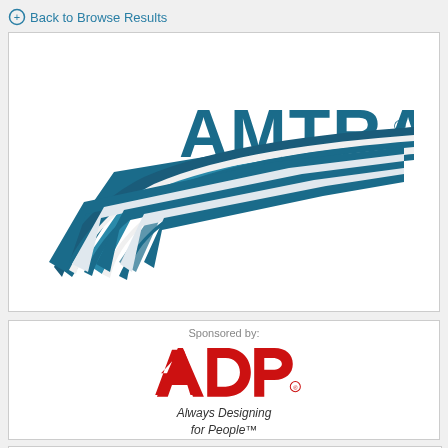Back to Browse Results
[Figure (logo): Amtrak logo with blue swoosh track lines and bold AMTRAK text]
[Figure (logo): ADP logo with red letters and tagline 'Always Designing for People']
Sponsored by:
Always Designing for People™